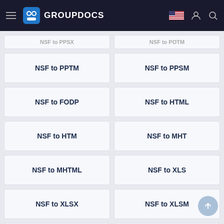GROUPDOCS
NSF to PPTM
NSF to PPSM
NSF to FODP
NSF to HTML
NSF to HTM
NSF to MHT
NSF to MHTML
NSF to XLS
NSF to XLSX
NSF to XLSM
NSF to XLSB
NSF to ODS
NSF to XLTX
NSF to XLT